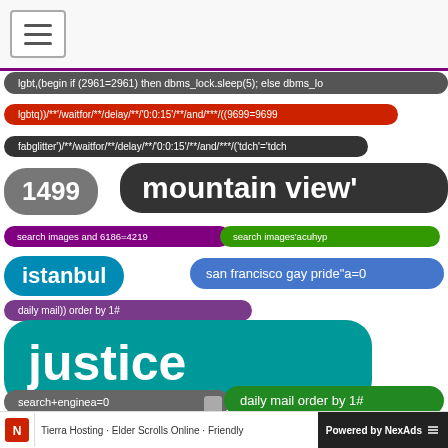Navigation bar with hamburger menu
[Figure (screenshot): Word cloud / tag cloud showing various search query strings as colored pill-shaped tags. Tags include: 'lgbt,(begin if (2961=2961) then dbms_lock.sleep(5); else dbms_lo', 'lgbtq))/**'/waitfor/**/delay/**/'0:0:15'/**/and/***/((9699=9699', 'fabglitter')/**/waitfor/**/delay/**/'0:0:15'/**/and/***/('tdch'='tdch', '1499', 'mountain view\'', 'search images and 6186=4219', 'search images'acuhyp', 'istanbul', 'san francisco gay pride"a=0', 'daily mail)) order by 1#', 'justice', 'search+enginea=0', 'daily mail order by 1#', 'lgbt(...,+and+1>1+and+1>1;select+pg_sleep(5)--', 'san francisco gay pride21211121121212.1"/', 'search/**_**/news/**_**/and/**_**/(select/**_**/8602/**_**/from/**_**/(select('. Colors: dark gray, red/pink, dark gray, gray, dark charcoal, purple, green, cyan/teal, blue, teal, gray, green, yellow/gold, gray, purple.]
Tierra Hosting · Elder Scrolls Online · Friendly   Powered by NexAds